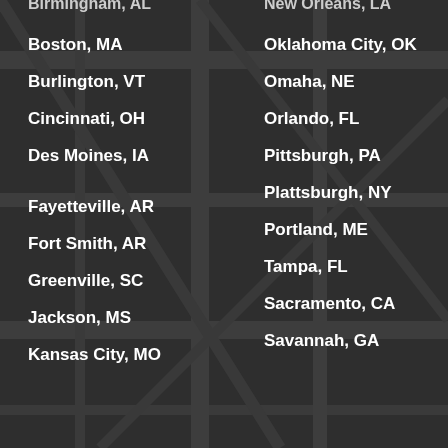[Figure (map): Dark street map background with gray road lines on dark charcoal background]
Birmingham, AL
New Orleans, LA
Boston, MA
Oklahoma City, OK
Burlington, VT
Omaha, NE
Cincinnati, OH
Orlando, FL
Des Moines, IA
Pittsburgh, PA
Plattsburgh, NY
Fayetteville, AR
Portland, ME
Fort Smith, AR
Tampa, FL
Greenville, SC
Sacramento, CA
Jackson, MS
Savannah, GA
Kansas City, MO